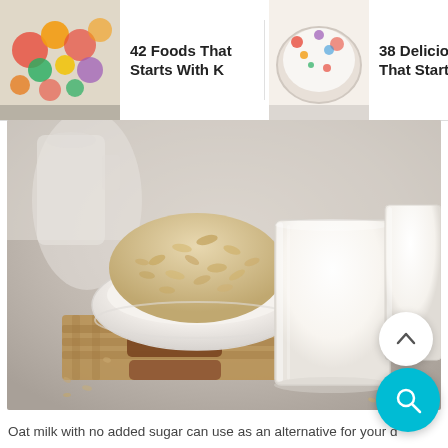[Figure (screenshot): Navigation bar with three food article thumbnails and titles: '42 Foods That Starts With K', '38 Delicious Food That Start With M', '25 Inspiring Foods That Start With...']
[Figure (photo): Main photo of oat milk: a white bowl filled with rolled oats, two glasses of white oat milk, brown biscuits/cookies on a burlap cloth on a grey surface]
Oat milk with no added sugar can use as an alternative for your d